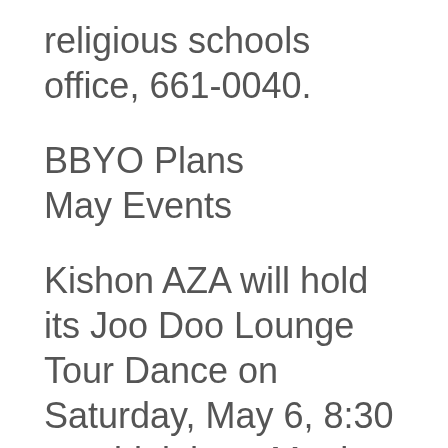religious schools office, 661-0040.
BBYO Plans
May Events
Kishon AZA will hold its Joo Doo Lounge Tour Dance on Saturday, May 6, 8:30 to midnight at Maple-Drake. There is an admission charge. All teens are invited. The Ann Arbor Teen Connection invites 211Washtenaw County middle schoolers and fifth grade perspective members to its